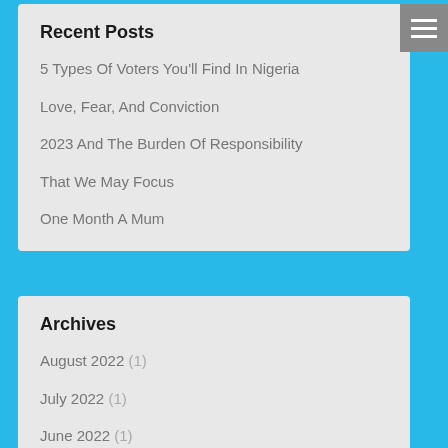Recent Posts
5 Types Of Voters You'll Find In Nigeria
Love, Fear, And Conviction
2023 And The Burden Of Responsibility
That We May Focus
One Month A Mum
Archives
August 2022 (1)
July 2022 (1)
June 2022 (1)